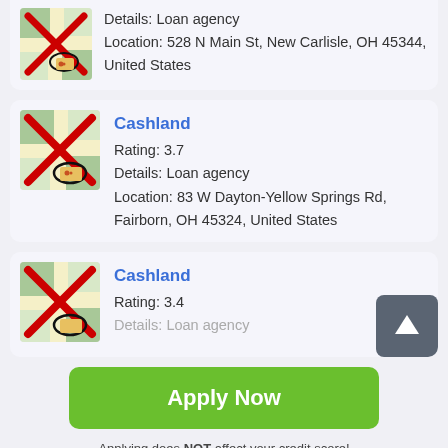Details: Loan agency
Location: 528 N Main St, New Carlisle, OH 45344, United States
Cashland
Rating: 3.7
Details: Loan agency
Location: 83 W Dayton-Yellow Springs Rd, Fairborn, OH 45324, United States
Cashland
Rating: 3.4
Details: Loan agency
Apply Now
Applying does NOT affect your credit score!
No credit check to apply.